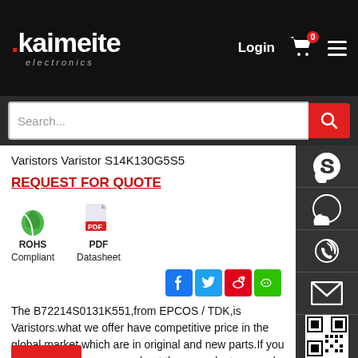Kaimeite electronics — Login — Cart — Menu
Search...
Varistors Varistor S14K130G5S5
REQUEST FOR QUOTE
[Figure (logo): ROHS Compliant green leaf icon and PDF Datasheet icon]
The B72214S0131K551,from EPCOS / TDK,is Varistors.what we offer have competitive price in the global market,which are in original and new parts.If you would like to know more about these products or apply a lower price, please contact us through the "online chat" or send a quote to us!